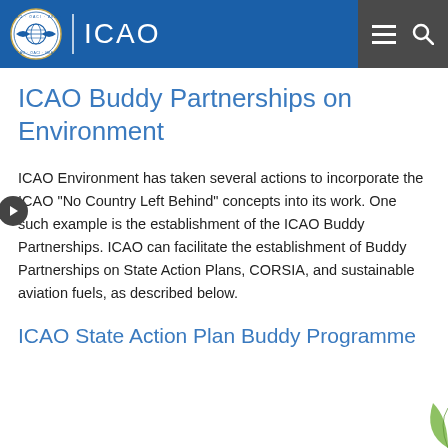ICAO
ICAO Buddy Partnerships on Environment
ICAO Environment has taken several actions to incorporate the ICAO "No Country Left Behind" concepts into its work. One such example is the establishment of the ICAO Buddy Partnerships. ICAO can facilitate the establishment of Buddy Partnerships on State Action Plans, CORSIA, and sustainable aviation fuels, as described below.
ICAO State Action Plan Buddy Programme